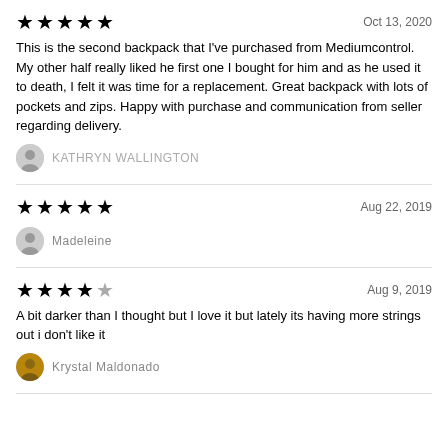★★★★★   Oct 13, 2020
This is the second backpack that I've purchased from Mediumcontrol. My other half really liked he first one I bought for him and as he used it to death, I felt it was time for a replacement. Great backpack with lots of pockets and zips. Happy with purchase and communication from seller regarding delivery.
KATHRYN WALLINGTON
★★★★★   Aug 22, 2019
Madeleine
★★★★☆   Aug 9, 2019
A bit darker than I thought but I love it but lately its having more strings out i don't like it
Krystal Maldonado